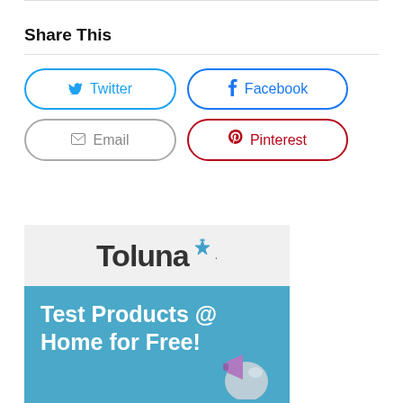Share This
[Figure (screenshot): Social share buttons: Twitter (blue outline), Facebook (blue outline), Email (grey outline), Pinterest (red outline)]
[Figure (illustration): Toluna advertisement banner with logo and 'Test Products @ Home for Free!' text on blue background with mascot illustration]